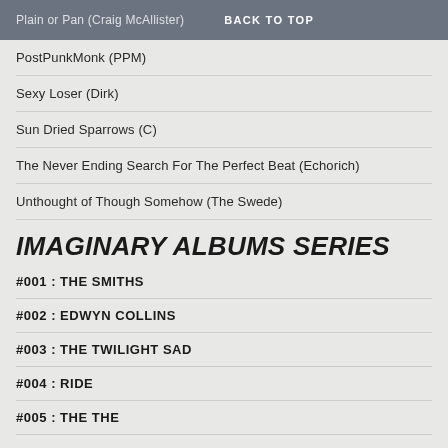Plain or Pan (Craig McAllister)  BACK TO TOP
PostPunkMonk (PPM)
Sexy Loser (Dirk)
Sun Dried Sparrows (C)
The Never Ending Search For The Perfect Beat (Echorich)
Unthought of Though Somehow (The Swede)
IMAGINARY ALBUMS SERIES
#001 : THE SMITHS
#002 : EDWYN COLLINS
#003 : THE TWILIGHT SAD
#004 : RIDE
#005 : THE THE